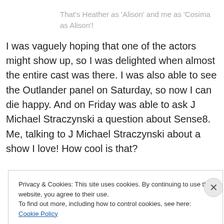That's Heather as 'Alison' and me as 'Cosima as Alison'!
I was vaguely hoping that one of the actors might show up, so I was delighted when almost the entire cast was there. I was also able to see the Outlander panel on Saturday, so now I can die happy. And on Friday was able to ask J Michael Straczynski a question about Sense8. Me, talking to J Michael Straczynski about a show I love! How cool is that?
Privacy & Cookies: This site uses cookies. By continuing to use this website, you agree to their use.
To find out more, including how to control cookies, see here: Cookie Policy
Close and accept